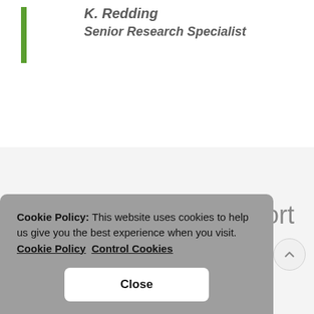K. Redding
Senior Research Specialist
Free SoftMouse Support Desk Services
Cookie Policy: This website uses cookies to help us give you the best experience when you visit. Cookie Policy   Control Cookies
Close